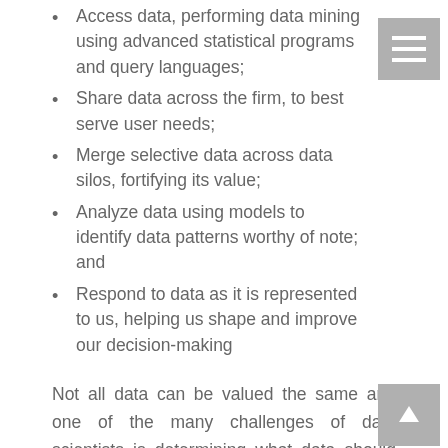Access data, performing data mining using advanced statistical programs and query languages;
Share data across the firm, to best serve user needs;
Merge selective data across data silos, fortifying its value;
Analyze data using models to identify data patterns worthy of note; and
Respond to data as it is represented to us, helping us shape and improve our decision-making
Not all data can be valued the same and one of the many challenges of data scientists is determining what data should be gathered at what frequency across all data silos and how it will it divided into golden opportunities.
Predictive Analytics